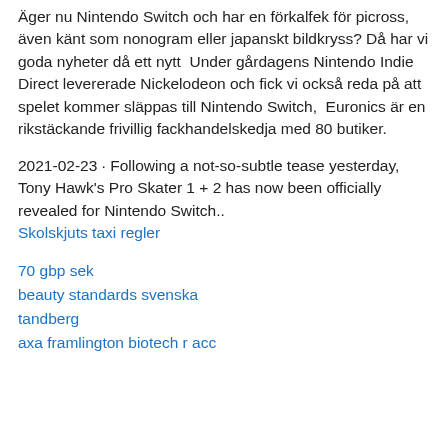Äger nu Nintendo Switch och har en förkalfek för picross, även känt som nonogram eller japanskt bildkryss? Då har vi goda nyheter då ett nytt  Under gårdagens Nintendo Indie Direct levererade Nickelodeon och fick vi också reda på att spelet kommer släppas till Nintendo Switch,  Euronics är en rikstäckande frivillig fackhandelskedja med 80 butiker.
2021-02-23 · Following a not-so-subtle tease yesterday, Tony Hawk's Pro Skater 1 + 2 has now been officially revealed for Nintendo Switch..
Skolskjuts taxi regler
70 gbp sek
beauty standards svenska
tandberg
axa framlington biotech r acc